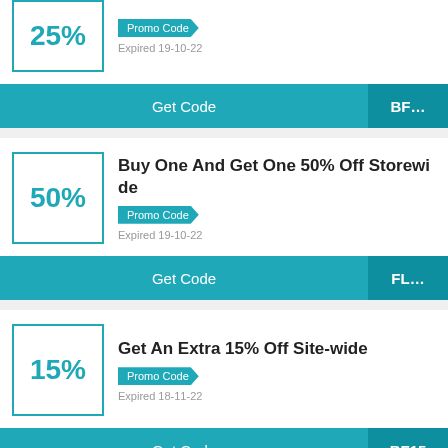25%
Promo Code
Expired 19-10-22
Get Code | BF...
Buy One And Get One 50% Off Storewide
Promo Code
Expired 19-10-22
Get Code | FL...
Get An Extra 15% Off Site-wide
Promo Code
Expired 18-11-22
Get Code | BF15
Get An Extra 15% Off Store-Wide
Promo Code